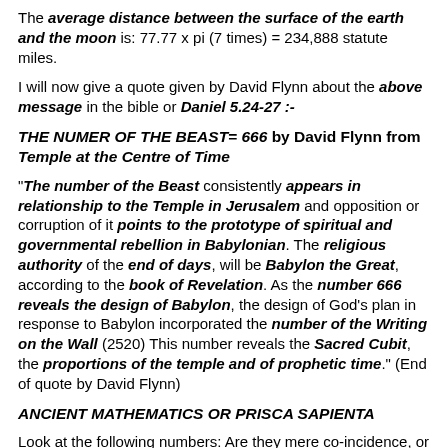The average distance between the surface of the earth and the moon is: 77.77 x pi (7 times) = 234,888 statute miles.
I will now give a quote given by David Flynn about the above message in the bible or Daniel 5.24-27 :-
THE NUMER OF THE BEAST= 666 by David Flynn from Temple at the Centre of Time
"The number of the Beast consistently appears in relationship to the Temple in Jerusalem and opposition or corruption of it points to the prototype of spiritual and governmental rebellion in Babylonian. The religious authority of the end of days, will be Babylon the Great, according to the book of Revelation. As the number 666 reveals the design of Babylon, the design of God's plan in response to Babylon incorporated the number of the Writing on the Wall (2520) This number reveals the Sacred Cubit, the proportions of the temple and of prophetic time." (End of quote by David Flynn)
ANCIENT MATHEMATICS OR PRISCA SAPIENTA
Look at the following numbers: Are they mere co-incidence, or